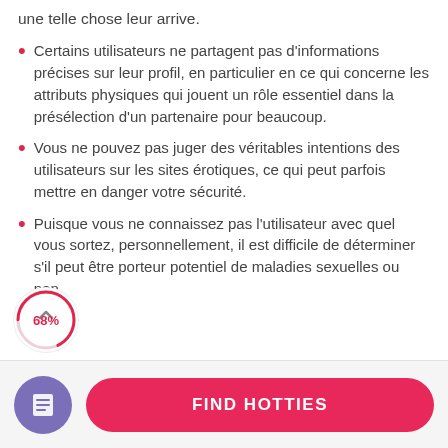une telle chose leur arrive.
Certains utilisateurs ne partagent pas d'informations précises sur leur profil, en particulier en ce qui concerne les attributs physiques qui jouent un rôle essentiel dans la présélection d'un partenaire pour beaucoup.
Vous ne pouvez pas juger des véritables intentions des utilisateurs sur les sites érotiques, ce qui peut parfois mettre en danger votre sécurité.
Puisque vous ne connaissez pas l'utilisateur avec quel vous sortez, personnellement, il est difficile de déterminer s'il peut être porteur potentiel de maladies sexuelles ou non.
[Figure (infographic): A circular progress indicator showing 68% in red/pink, with an upward chevron arrow icon above it. Positioned at bottom-left overlapping the last list item.]
[Figure (infographic): Footer bar with a purple circular icon containing a document/list symbol on the left, and a pink rounded-rectangle 'FIND HOTTIES' button on the right.]